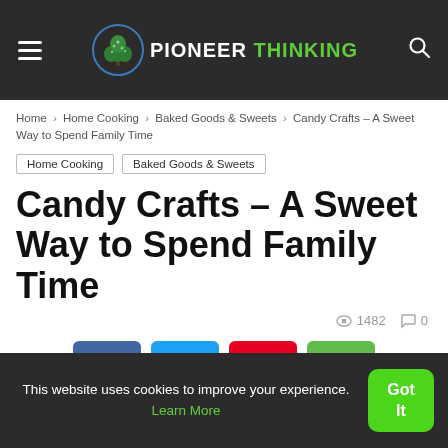PIONEER THINKING
Home > Home Cooking > Baked Goods & Sweets > Candy Crafts – A Sweet Way to Spend Family Time
Home Cooking  Baked Goods & Sweets
Candy Crafts – A Sweet Way to Spend Family Time
1482 views  0 comments
[Figure (infographic): Social sharing buttons: Facebook, Twitter, Pinterest, WhatsApp]
This website uses cookies to improve your experience. Learn More  Got It